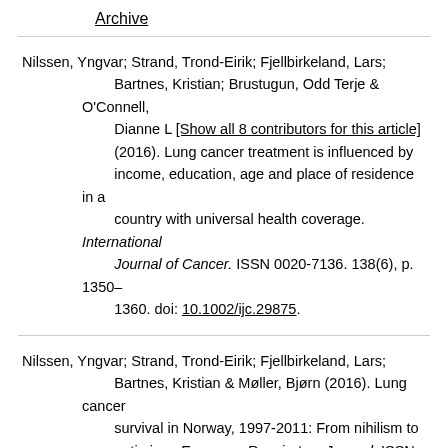Archive
Nilssen, Yngvar; Strand, Trond-Eirik; Fjellbirkeland, Lars; Bartnes, Kristian; Brustugun, Odd Terje & O'Connell, Dianne L [Show all 8 contributors for this article] (2016). Lung cancer treatment is influenced by income, education, age and place of residence in a country with universal health coverage. International Journal of Cancer. ISSN 0020-7136. 138(6), p. 1350–1360. doi: 10.1002/ijc.29875.
Nilssen, Yngvar; Strand, Trond-Eirik; Fjellbirkeland, Lars; Bartnes, Kristian & Møller, Bjørn (2016). Lung cancer survival in Norway, 1997-2011: From nihilism to optimism. European Respiratory Journal. ISSN 0903-1936. 47(1), p. 275–287. doi: